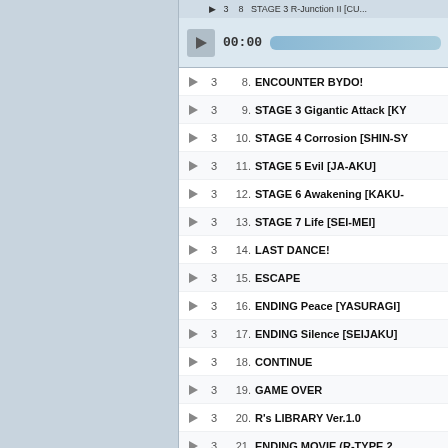3  8.  ENCOUNTER BYDO!
3  9.  STAGE 3 Gigantic Attack [KY...
3  10. STAGE 4 Corrosion [SHIN-SY...
3  11. STAGE 5 Evil [JA-AKU]
3  12. STAGE 6 Awakening [KAKU-...
3  13. STAGE 7 Life [SEI-MEI]
3  14. LAST DANCE!
3  15. ESCAPE
3  16. ENDING Peace [YASURAGI]
3  17. ENDING Silence [SEIJAKU]
3  18. CONTINUE
3  19. GAME OVER
3  20. R's LIBRARY Ver.1.0
3  21. ENDING MOVIE (R-TYPE 2...